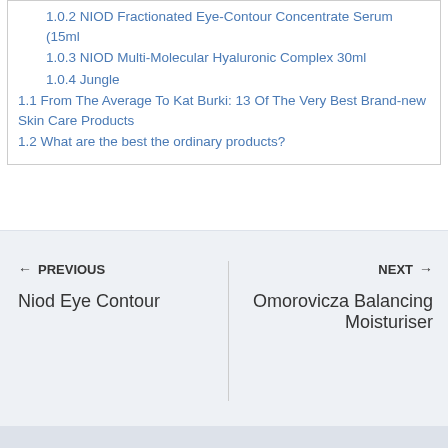1.0.2 NIOD Fractionated Eye-Contour Concentrate Serum (15ml
1.0.3 NIOD Multi-Molecular Hyaluronic Complex 30ml
1.0.4 Jungle
1.1 From The Average To Kat Burki: 13 Of The Very Best Brand-new Skin Care Products
1.2 What are the best the ordinary products?
← PREVIOUS
Niod Eye Contour
NEXT →
Omorovicza Balancing Moisturiser